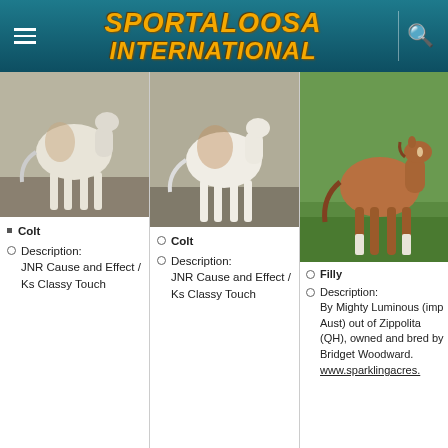SPORTALOOSA INTERNATIONAL
[Figure (photo): White/cream colored foal standing, photographed from the side showing legs and body]
Colt
Description: JNR Cause and Effect / Ks Classy Touch
[Figure (photo): White foal standing outdoors, side view]
Colt
Description: JNR Cause and Effect / Ks Classy Touch
[Figure (photo): Brown/chestnut foal standing on grass, full body side view]
Filly
Description: By Mighty Luminous (imp Aust) out of Zippolita (QH), owned and bred by Bridget Woodward. www.sparklingacres.